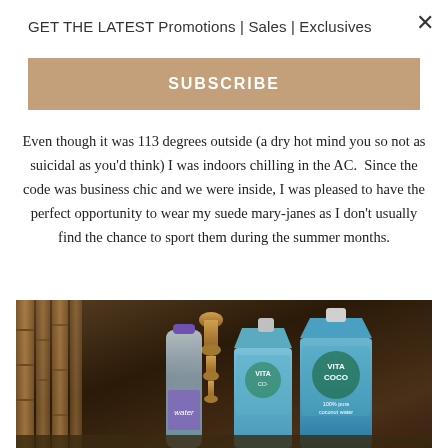GET THE LATEST Promotions | Sales | Exclusives
SUBSCRIBE
Even though it was 113 degrees outside (a dry hot mind you so not as suicidal as you'd think) I was indoors chilling in the AC.  Since the code was business chic and we were inside, I was pleased to have the perfect opportunity to wear my suede mary-janes as I don't usually find the chance to sport them during the summer months.
[Figure (photo): Photo of water bottles and Vita Coco coconut water cartons on a wooden table with bamboo and a decorative lamp in the background.]